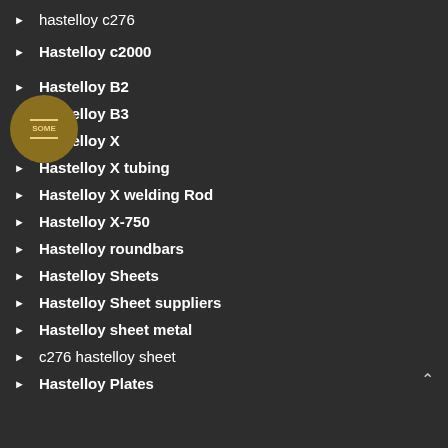hastelloy c276
Hastelloy c2000
Hastelloy B2
Hastelloy B3
Hastelloy X
Hastelloy X tubing
Hastelloy X welding Rod
Hastelloy X-750
Hastelloy roundbars
Hastelloy Sheets
Hastelloy Sheet suppliers
Hastelloy sheet metal
c276 hastelloy sheet
Hastelloy Plates